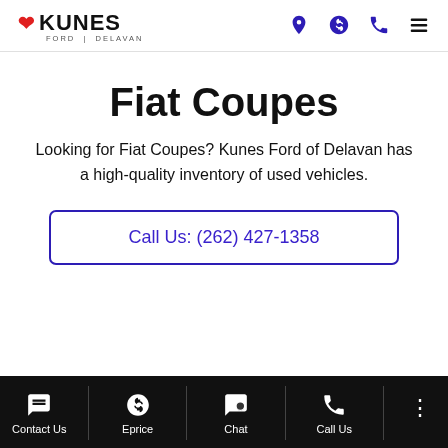KUNES FORD DELAVAN — navigation header with location, price, phone, and menu icons
Fiat Coupes
Looking for Fiat Coupes? Kunes Ford of Delavan has a high-quality inventory of used vehicles.
Call Us: (262) 427-1358
Contact Us | Eprice | Chat | Call Us | More